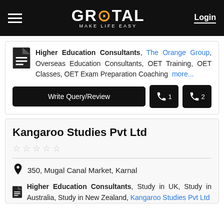GROTAL MAKE LIFE EASY | Login
Higher Education Consultants, The Orange Group, Overseas Education Consultants, OET Training, OET Classes, OET Exam Preparation Coaching more...
Write Query/Review | Phone 1 | Phone 2
Kangaroo Studies Pvt Ltd
★ ★ ★ ★ ★
350, Mugal Canal Market, Karnal
Higher Education Consultants, Study in UK, Study in Australia, Study in New Zealand, Kangaroo Studies Pvt Ltd